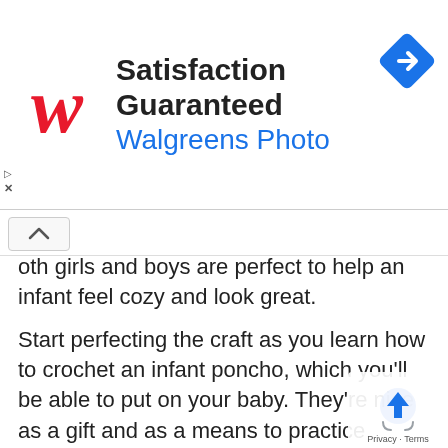[Figure (screenshot): Walgreens Photo advertisement banner with red cursive W logo, text 'Satisfaction Guaranteed' in bold black, 'Walgreens Photo' in blue, and a blue diamond navigation icon on the right. Small triangle play and X controls on the left side.]
oth girls and boys are perfect to help an infant feel cozy and look great.
Start perfecting the craft as you learn how to crochet an infant poncho, which you'll be able to put on your baby. They're nice as a gift and as a means to practice getting the hang of crocheting. Look for baby poncho patterns that match your style. Step outside the box and add unusual “ingredients” to your baby poncho. Use your favorite colors, add some personal touches, s a beautiful edging – you can’t go wrong with these crocheted patterns for infant ponchos.